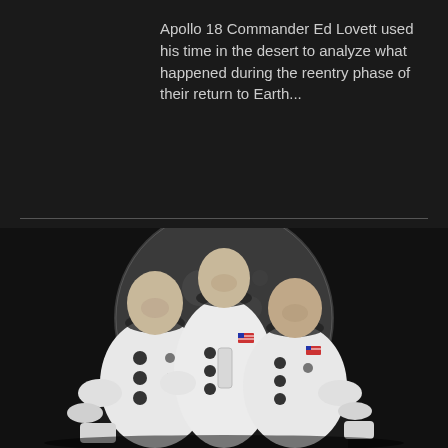Apollo 18 Commander Ed Lovett used his time in the desert to analyze what happened during the reentry phase of their return to Earth...
[Figure (photo): Black and white official portrait photograph of three Apollo astronauts in white spacesuits, posed in front of a large circular image of the Moon against a dark background. The central astronaut stands taller, flanked by the two others who are seated or crouching slightly.]